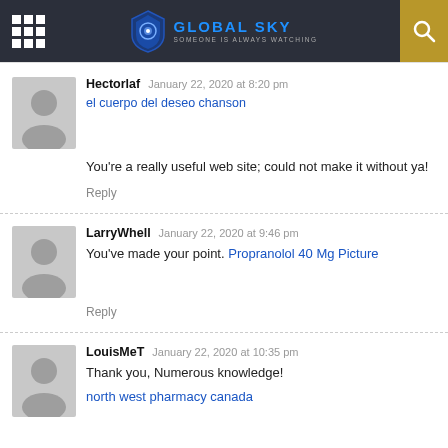GLOBAL SKY — SOMEONE IS ALWAYS WATCHING
Hectorlaf  January 22, 2020 at 8:20 pm
el cuerpo del deseo chanson
You're a really useful web site; could not make it without ya!
Reply
LarryWhell  January 22, 2020 at 9:46 pm
You've made your point. Propranolol 40 Mg Picture
Reply
LouisMeT  January 22, 2020 at 10:35 pm
Thank you, Numerous knowledge!
north west pharmacy canada